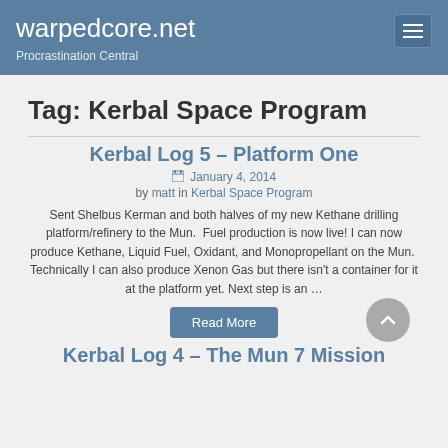warpedcore.net — Procrastination Central
Tag: Kerbal Space Program
Kerbal Log 5 – Platform One
January 4, 2014 by matt in Kerbal Space Program
Sent Shelbus Kerman and both halves of my new Kethane drilling platform/refinery to the Mun.  Fuel production is now live! I can now produce Kethane, Liquid Fuel, Oxidant, and Monopropellant on the Mun.  Technically I can also produce Xenon Gas but there isn't a container for it at the platform yet. Next step is an …
Read More
Kerbal Log 4 – The Mun 7 Mission